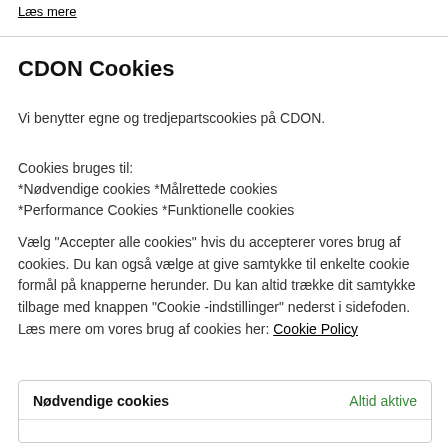Læs mere
CDON Cookies
Vi benytter egne og tredjepartscookies på CDON.
Cookies bruges til:
*Nødvendige cookies *Målrettede cookies
*Performance Cookies *Funktionelle cookies
Vælg "Accepter alle cookies" hvis du accepterer vores brug af cookies. Du kan også vælge at give samtykke til enkelte cookie formål på knapperne herunder. Du kan altid trække dit samtykke tilbage med knappen "Cookie-indstillinger" nederst i sidefoden. Læs mere om vores brug af cookies her: Cookie Policy
| Nødvendige cookies | Altid aktive |
| --- | --- |